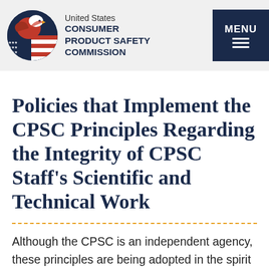United States CONSUMER PRODUCT SAFETY COMMISSION
Policies that Implement the CPSC Principles Regarding the Integrity of CPSC Staff's Scientific and Technical Work
Although the CPSC is an independent agency, these principles are being adopted in the spirit of